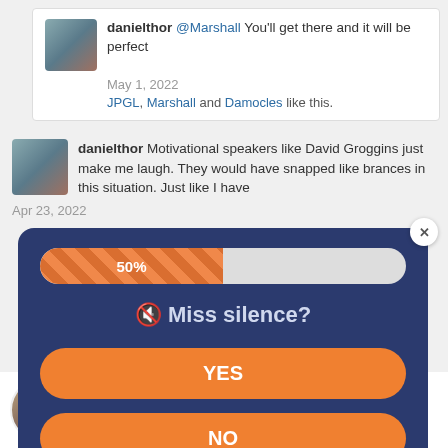danielthor @Marshall You'll get there and it will be perfect
May 1, 2022
JPGL, Marshall and Damocles like this.
danielthor Motivational speakers like David Groggins just make me laugh. They would have snapped like brances in this situation. Just like I have
Apr 23, 2022
[Figure (infographic): Modal dialog with dark blue background showing a 50% striped progress bar, the question '🔇 Miss silence?', and two orange pill-shaped buttons labeled YES and NO, with an X close button.]
existence, including all his intimate connections to time and loved ones, he realized what true hell is. Jail,